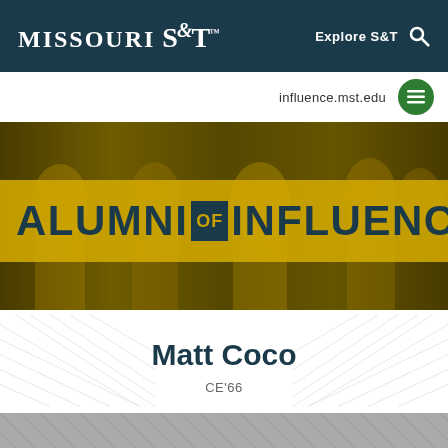Missouri S&T — Explore S&T
influence.mst.edu
[Figure (photo): Alumni of Influence banner with group photo of people in formal attire overlaid with gold/yellow stripe and text reading ALUMNI OF INFLUENCE]
Matt Coco
CE'66
[Figure (photo): Partial black and white photo at bottom of page]